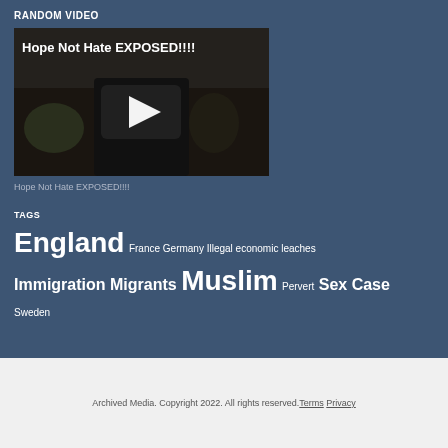RANDOM VIDEO
[Figure (screenshot): Video thumbnail showing text 'Hope Not Hate EXPOSED!!!!' with a play button overlay on a dark image]
Hope Not Hate EXPOSED!!!!
TAGS
England France Germany Illegal economic leaches Immigration Migrants Muslim Pervert Sex Case Sweden
Archived Media. Copyright 2022. All rights reserved. Terms Privacy